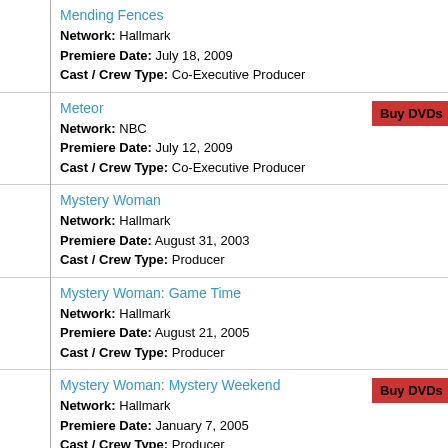Mending Fences
Network: Hallmark
Premiere Date: July 18, 2009
Cast / Crew Type: Co-Executive Producer
Meteor
Network: NBC
Premiere Date: July 12, 2009
Cast / Crew Type: Co-Executive Producer
Mystery Woman
Network: Hallmark
Premiere Date: August 31, 2003
Cast / Crew Type: Producer
Mystery Woman: Game Time
Network: Hallmark
Premiere Date: August 21, 2005
Cast / Crew Type: Producer
Mystery Woman: Mystery Weekend
Network: Hallmark
Premiere Date: January 7, 2005
Cast / Crew Type: Producer
Mystery Woman: Oh Baby
Network: Hallmark
Premiere Date: August 19, 2006
Cast / Crew Type: Producer
Mystery Woman: Redemption
Network: Hallmark
Premiere Date: March 1, 2008